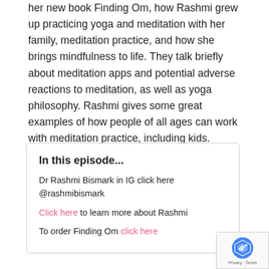her new book Finding Om, how Rashmi grew up practicing yoga and meditation with her family, meditation practice, and how she brings mindfulness to life. They talk briefly about meditation apps and potential adverse reactions to meditation, as well as yoga philosophy. Rashmi gives some great examples of how people of all ages can work with meditation practice, including kids.
In this episode...
Dr Rashmi Bismark in IG click here @rashmibismark
Click here to learn more about Rashmi
To order Finding Om click here